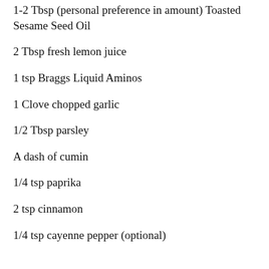1-2 Tbsp (personal preference in amount) Toasted Sesame Seed Oil
2 Tbsp fresh lemon juice
1 tsp Braggs Liquid Aminos
1 Clove chopped garlic
1/2 Tbsp parsley
A dash of cumin
1/4 tsp paprika
2 tsp cinnamon
1/4 tsp cayenne pepper (optional)